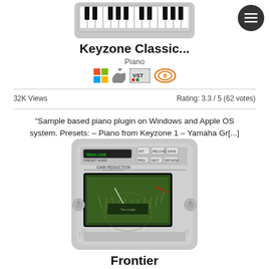[Figure (screenshot): Piano keyboard plugin image (Keyzone Classic) at top]
Keyzone Classic...
Piano
[Figure (infographic): Platform and format badges: Windows logo, Apple logo, VST badge, audio badge]
32K Views
Rating: 3.3 / 5 (62 votes)
"Sample based piano plugin on Windows and Apple OS system. Presets: – Piano from Keyzone 1 – Yamaha Gr[...]
[Figure (screenshot): Frontier plugin screenshot showing gain reduction meter and controls]
Frontier